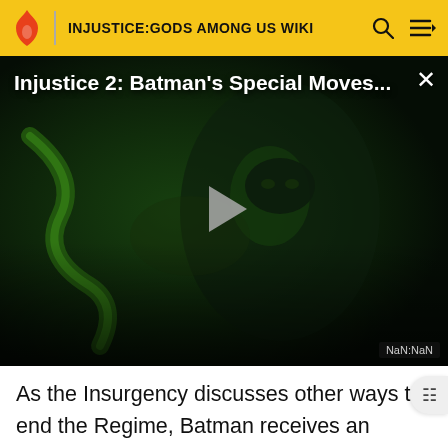INJUSTICE:GODS AMONG US WIKI
[Figure (screenshot): Video thumbnail showing Batman from Injustice 2 in a dark green-lit environment. Overlaid title reads 'Injustice 2: Batman's Special Moves...' with a play button in the center and 'NaN:NaN' timestamp label at bottom right.]
As the Insurgency discusses other ways to end the Regime, Batman receives an announcement from Superman that Superman would be executing the main universe's Batman. Knowing full and well it was a trap, the Insurgency devise a plan to break the other Batman out of